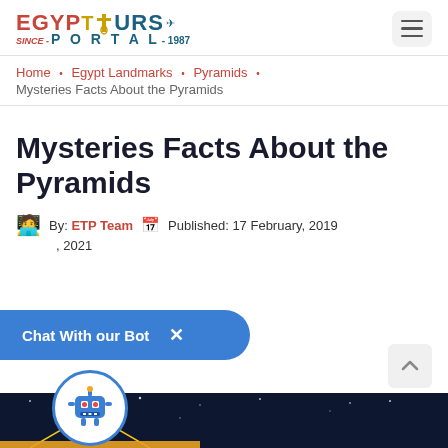[Figure (logo): Egypt Tours Portal logo with red 'EGYPT' text, blue 'TOURS' text, ankh symbol, plane icon, and 'SINCE-PORTAL-1987' below]
Home • Egypt Landmarks • Pyramids •
Mysteries Facts About the Pyramids
Mysteries Facts About the Pyramids
By: ETP Team  Published: 17 February, 2019
, 2021
[Figure (screenshot): Chat With our Bot popup bubble with X close button and robot icon]
[Figure (photo): Dark night sky image with pyramid outline at bottom, partially visible]